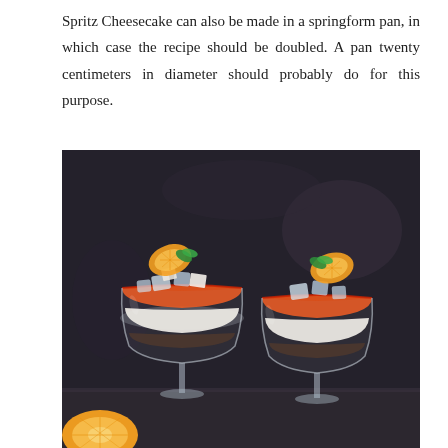Spritz Cheesecake can also be made in a springform pan, in which case the recipe should be doubled. A pan twenty centimeters in diameter should probably do for this purpose.
[Figure (photo): Two elegant stemmed cocktail glasses filled with layered orange jelly and cream cheesecake dessert, topped with ice cubes, orange slices, and mint leaves, photographed on a dark background with an orange slice in the foreground.]